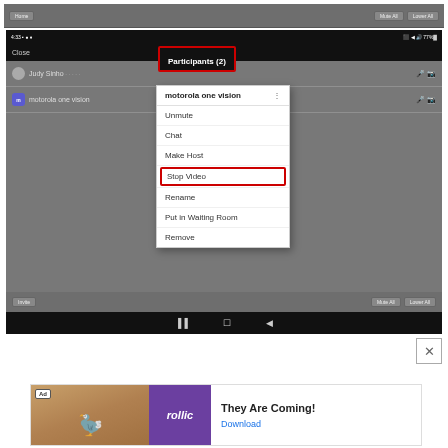[Figure (screenshot): Screenshot of a mobile video conferencing app showing the Participants (2) panel. A dropdown context menu is open for 'motorola one vision' with options: Unmute, Chat, Make Host, Stop Video (highlighted with red box), Rename, Put in Waiting Room, Remove. 'Participants (2)' title is highlighted with a red box.]
[Figure (screenshot): Advertisement banner at the bottom: 'They Are Coming!' game ad by Rollic with a Download link.]